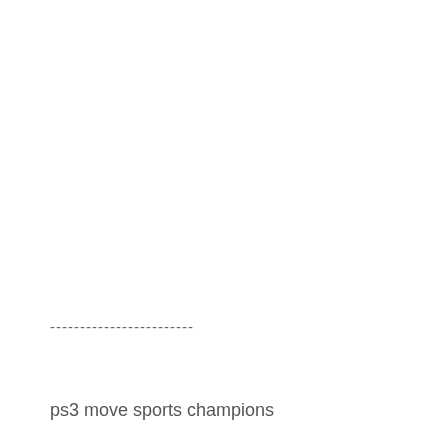------------------------
ps3 move sports champions